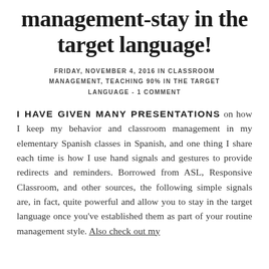management-stay in the target language!
FRIDAY, NOVEMBER 4, 2016 IN CLASSROOM MANAGEMENT, TEACHING 90% IN THE TARGET LANGUAGE - 1 COMMENT
I HAVE GIVEN MANY PRESENTATIONS on how I keep my behavior and classroom management in my elementary Spanish classes in Spanish, and one thing I share each time is how I use hand signals and gestures to provide redirects and reminders. Borrowed from ASL, Responsive Classroom, and other sources, the following simple signals are, in fact, quite powerful and allow you to stay in the target language once you've established them as part of your routine management style. Also check out my